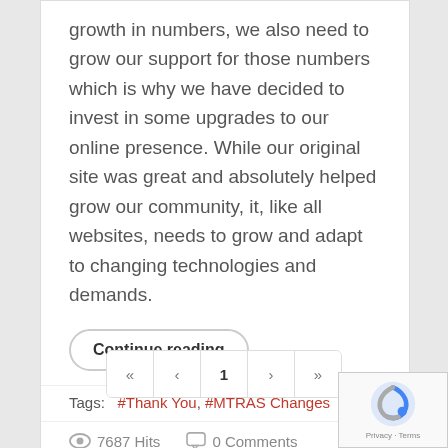growth in numbers, we also need to grow our support for those numbers which is why we have decided to invest in some upgrades to our online presence. While our original site was great and absolutely helped grow our community, it, like all websites, needs to grow and adapt to changing technologies and demands.
Continue reading
Tags: #Thank You, #MTRAS Changes
7687 Hits   0 Comments
« ‹ 1 › »